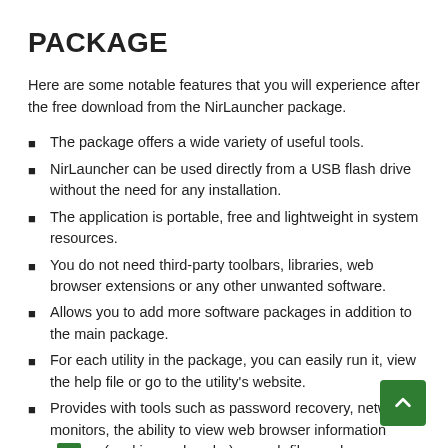PACKAGE
Here are some notable features that you will experience after the free download from the NirLauncher package.
The package offers a wide variety of useful tools.
NirLauncher can be used directly from a USB flash drive without the need for any installation.
The application is portable, free and lightweight in system resources.
You do not need third-party toolbars, libraries, web browser extensions or any other unwanted software.
Allows you to add more software packages in addition to the main package.
For each utility in the package, you can easily run it, view the help file or go to the utility's website.
Provides with tools such as password recovery, network monitors, the ability to view web browser information such as (cookies and cache), search files and many more.